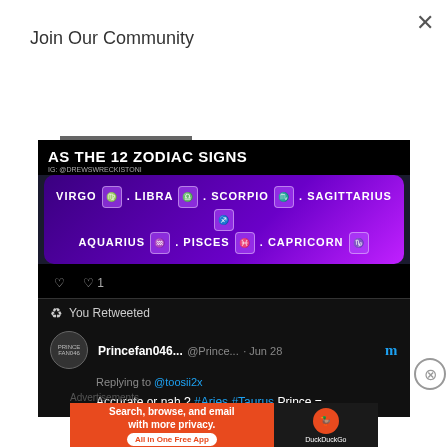×
Join Our Community
Subscribe
[Figure (screenshot): Screenshot of a tweet showing zodiac signs on a dark/purple background with text 'AS THE 12 ZODIAC SIGNS'. Shows VIRGO, LIBRA, SCORPIO, SAGITTARIUS, AQUARIUS, PISCES, CAPRICORN with their symbols in purple boxes.]
You Retweeted
Princefan046... @Prince... · Jun 28
Replying to @toosii2x
Accurate or nah ? #Aries #Taurus Prince =
Advertisements
[Figure (screenshot): DuckDuckGo advertisement banner: 'Search, browse, and email with more privacy. All in One Free App' on orange background with DuckDuckGo logo on dark background.]